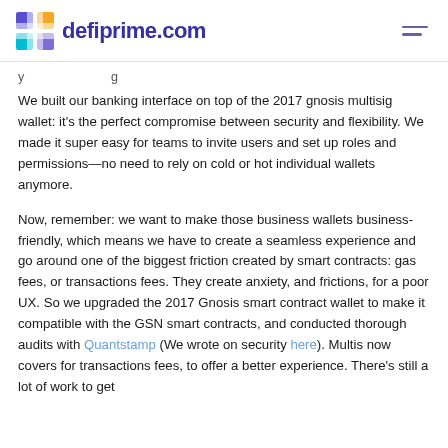defiprime.com
We built our banking interface on top of the 2017 gnosis multisig wallet: it's the perfect compromise between security and flexibility. We made it super easy for teams to invite users and set up roles and permissions—no need to rely on cold or hot individual wallets anymore.
Now, remember: we want to make those business wallets business-friendly, which means we have to create a seamless experience and go around one of the biggest friction created by smart contracts: gas fees, or transactions fees. They create anxiety, and frictions, for a poor UX. So we upgraded the 2017 Gnosis smart contract wallet to make it compatible with the GSN smart contracts, and conducted thorough audits with Quantstamp (We wrote on security here). Multis now covers for transactions fees, to offer a better experience. There's still a lot of work to get